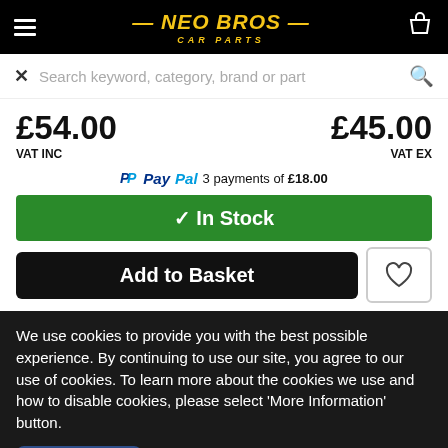NEO BROS CAR PARTS
Search keyword, category, brand or part
£54.00 VAT INC  £45.00 VAT EX
PayPal 3 payments of £18.00
✓ In Stock
Add to Basket
We use cookies to provide you with the best possible experience. By continuing to use our site, you agree to our use of cookies. To learn more about the cookies we use and how to disable cookies, please select 'More Information' button.
✓ ACCEPT
MORE INFORMATION ▸